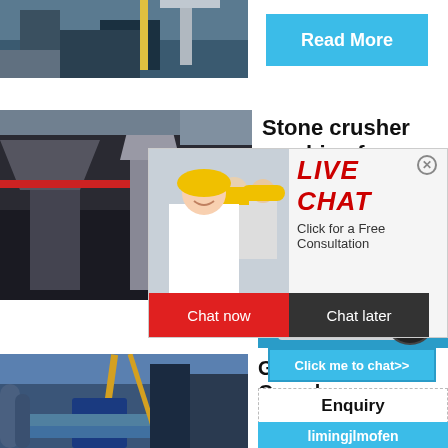[Figure (photo): Industrial facility with blue machinery and cranes at the top of the page]
Read More
[Figure (photo): Stone crusher machine equipment with cone crushers in industrial setting]
Stone crusher machine for granite
[Figure (photo): Live chat popup with smiling woman and colleagues in yellow hard hats]
LIVE CHAT
Click for a Free Consultation
Chat now
Chat later
hour online
[Figure (photo): Jaw crusher machine on blue background]
Click me to chat>>
[Figure (photo): Industrial plant with cranes and blue pipes/ducts]
Granite Gravels
Granite is
Enquiry
limingjlmofen